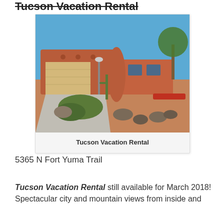Tucson Vacation Rental
[Figure (photo): Exterior photo of a Southwestern-style brick home with desert landscaping including cactus and rock garden, blue sky background, with caption 'Tucson Vacation Rental']
Tucson Vacation Rental
5365 N Fort Yuma Trail
Tucson Vacation Rental still available for March 2018! Spectacular city and mountain views from inside and